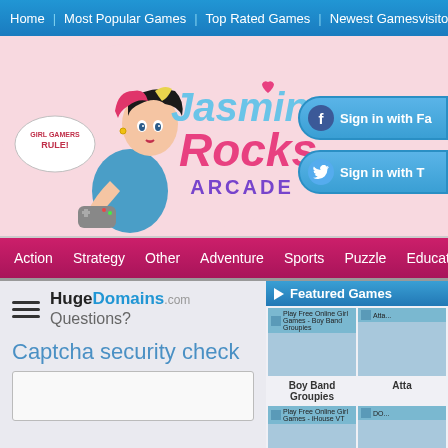Home | Most Popular Games | Top Rated Games | Newest Games | visitor
[Figure (logo): Jasmin Rocks Arcade logo with anime-style girl gamer character holding a controller, text says 'Girl Gamers Rule!' and 'Jasmin Rocks Arcade']
Sign in with Facebook
Sign in with Twitter
Action | Strategy | Other | Adventure | Sports | Puzzle | Education | D...
HugeDomains.com Questions?
Captcha security check
[Figure (other): Captcha security check input box area]
Featured Games
[Figure (screenshot): Play Free Online Girl Games - Boy Band Groupies thumbnail]
Boy Band Groupies
[Figure (screenshot): Atta... game thumbnail]
[Figure (screenshot): Play Free Online Girl Games - iHouse VT thumbnail]